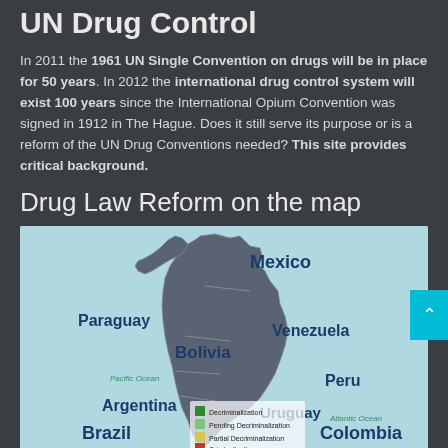UN Drug Control
In 2011 the 1961 UN Single Convention on drugs will be in place for 50 years. In 2012 the international drug control system will exist 100 years since the International Opium Convention was signed in 1912 in The Hague. Does it still serve its purpose or is a reform of the UN Drug Conventions needed? This site provides critical background.
Drug Law Reform on the map
[Figure (map): Map of Latin America showing drug law reform status for countries including Mexico, Paraguay, Bolivia, Venezuela, Peru, Argentina, Uruguay, Brazil, Colombia. Legend shows: Decriminalization (green), Pending Decriminalization (light green), Partial Decriminalization (yellow), Criminalization (red).]